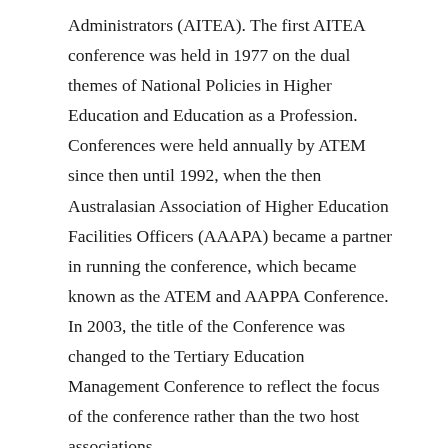Administrators (AITEA). The first AITEA conference was held in 1977 on the dual themes of National Policies in Higher Education and Education as a Profession. Conferences were held annually by ATEM since then until 1992, when the then Australasian Association of Higher Education Facilities Officers (AAAPA) became a partner in running the conference, which became known as the ATEM and AAPPA Conference. In 2003, the title of the Conference was changed to the Tertiary Education Management Conference to reflect the focus of the conference rather than the two host associations.
The contemporary Tertiary Education Management Conference is organised via a partnership between ATEM and the Tertiary Education Facilities Management Association (TEFMA) (previously the Australasian Association of Higher Education Facilities Officers (AAPPA). It attracts over 600 professional managers and higher education researchers